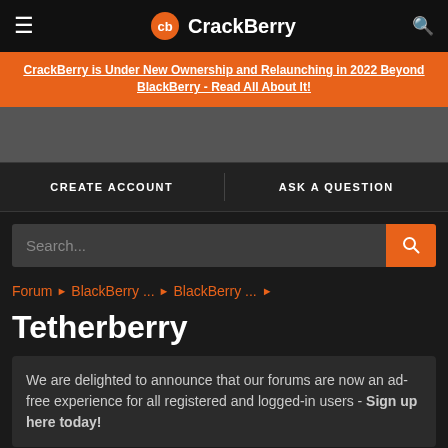CrackBerry
CrackBerry is Under New Ownership and Relaunching in 2022 Beyond BlackBerry - Read All About It!
CREATE ACCOUNT   ASK A QUESTION
Search...
Forum ▶ BlackBerry ... ▶ BlackBerry ... ▶
Tetherberry
We are delighted to announce that our forums are now an ad-free experience for all registered and logged-in users - Sign up here today!